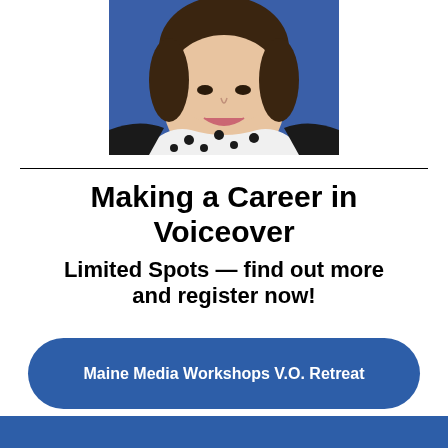[Figure (photo): Headshot of a smiling woman with dark hair, wearing a black and white polka dot blouse and black jacket, in front of a blue background]
Making a Career in Voiceover
Limited Spots — find out more and register now!
Maine Media Workshops V.O. Retreat